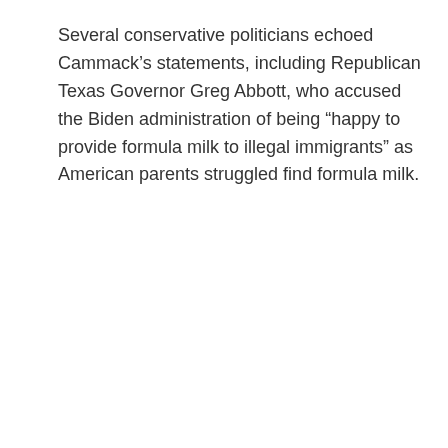Several conservative politicians echoed Cammack’s statements, including Republican Texas Governor Greg Abbott, who accused the Biden administration of being “happy to provide formula milk to illegal immigrants” as American parents struggled find formula milk.